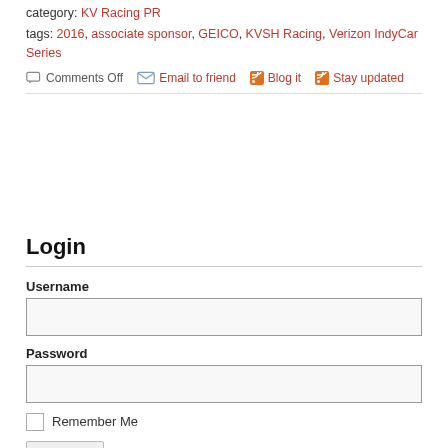category: KV Racing PR
tags: 2016, associate sponsor, GEICO, KVSH Racing, Verizon IndyCar Series
Comments Off  Email to friend  Blog it  Stay updated
Login
Username
Password
Remember Me
Log In